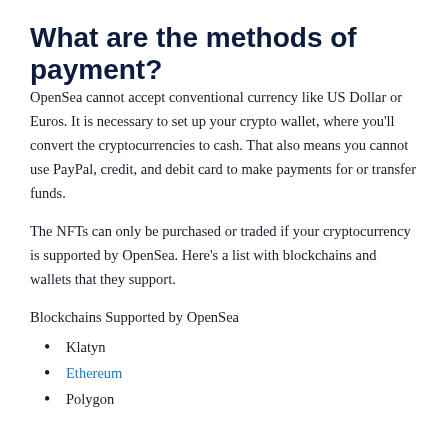What are the methods of payment?
OpenSea cannot accept conventional currency like US Dollar or Euros. It is necessary to set up your crypto wallet, where you'll convert the cryptocurrencies to cash. That also means you cannot use PayPal, credit, and debit card to make payments for or transfer funds.
The NFTs can only be purchased or traded if your cryptocurrency is supported by OpenSea. Here's a list with blockchains and wallets that they support.
Blockchains Supported by OpenSea
Klatyn
Ethereum
Polygon